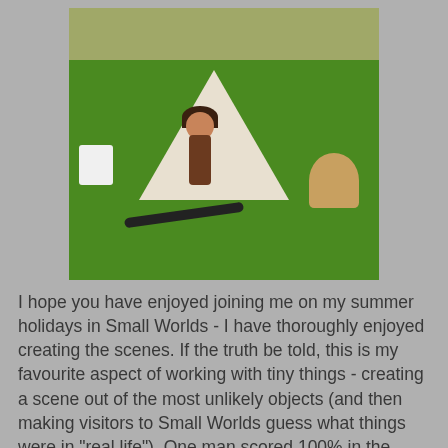[Figure (photo): A miniature camping scene on artificial green grass. Includes a white teepee tent, a small doll figure holding cooking implements, a white bucket, a BBQ grill with food on it, a long-handled tool on the ground, and bicycles visible in the background.]
I hope you have enjoyed joining me on my summer holidays in Small Worlds - I have thoroughly enjoyed creating the scenes.  If the truth be told, this is my favourite aspect of working with tiny things - creating a scene out of the most unlikely objects (and then making visitors to Small Worlds guess what things were in "real life").   One man scored 100% in the guessing game round the museum last week and then requested his prize.   I had to rapidly look up the Czech for "I'm afraid it's just the honour of out...